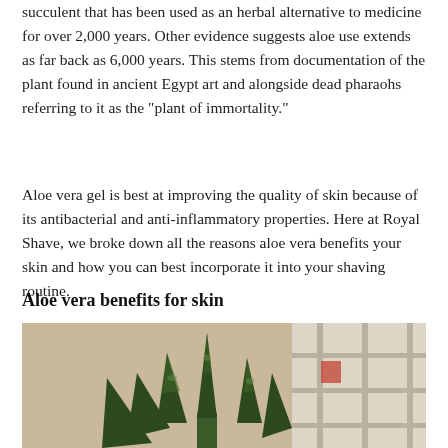succulent that has been used as an herbal alternative to medicine for over 2,000 years. Other evidence suggests aloe use extends as far back as 6,000 years. This stems from documentation of the plant found in ancient Egypt art and alongside dead pharaohs referring to it as the "plant of immortality."
Aloe vera gel is best at improving the quality of skin because of its antibacterial and anti-inflammatory properties. Here at Royal Shave, we broke down all the reasons aloe vera benefits your skin and how you can best incorporate it into your shaving routine.
Aloe vera benefits for skin
[Figure (photo): Photo of an aloe vera plant (appearing similar to a snake plant) with dark green spiky leaves with lighter markings, set against a blurred background with a window and beige wall.]